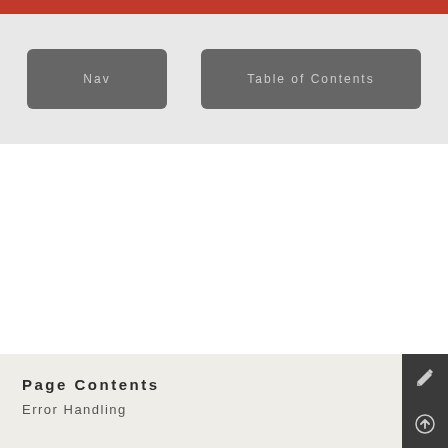[Figure (screenshot): Red navigation bar at top of page]
[Figure (screenshot): Navigation area with two buttons: Nav and Table of Contents on grey background]
Page Contents
Error Handling